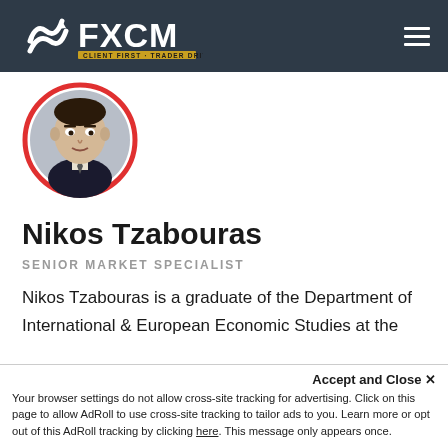FXCM — CLIENT FIRST · TRADER DRIVEN
[Figure (photo): Profile photo of Nikos Tzabouras, a man in a suit, shown in a circular frame with red border]
Nikos Tzabouras
SENIOR MARKET SPECIALIST
Nikos Tzabouras is a graduate of the Department of International & European Economic Studies at the Athens University of Economics and Business. He has a long time presence at FXCM, as he joined the company
Accept and Close ✕
Your browser settings do not allow cross-site tracking for advertising. Click on this page to allow AdRoll to use cross-site tracking to tailor ads to you. Learn more or opt out of this AdRoll tracking by clicking here. This message only appears once.